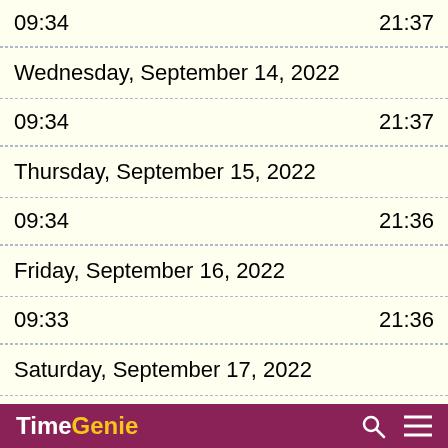| Start | End |
| --- | --- |
| 09:34 | 21:37 |
| Wednesday, September 14, 2022 |  |
| 09:34 | 21:37 |
| Thursday, September 15, 2022 |  |
| 09:34 | 21:36 |
| Friday, September 16, 2022 |  |
| 09:33 | 21:36 |
| Saturday, September 17, 2022 |  |
| 09:33 | 21:36 |
TimeGenie